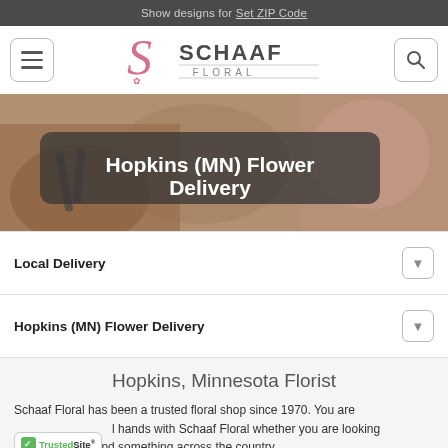Show designs for Set ZIP Code
[Figure (logo): Schaaf Floral logo with decorative pink S and text SCHAAF FLORAL]
Hopkins (MN) Flower Delivery
Local Delivery
Hopkins (MN) Flower Delivery
Hopkins, Minnesota Florist
Schaaf Floral has been a trusted floral shop since 1970. You are in good hands with Schaaf Floral whether you are looking for something local or to send something across the country.